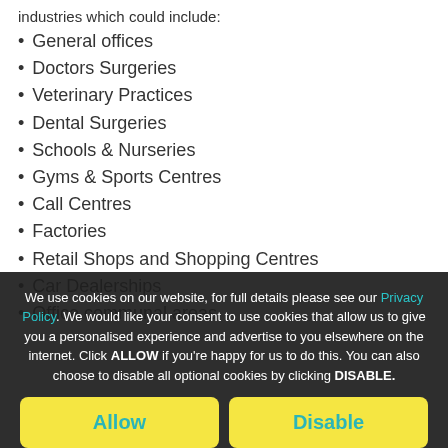industries which could include:
General offices
Doctors Surgeries
Veterinary Practices
Dental Surgeries
Schools & Nurseries
Gyms & Sports Centres
Call Centres
Factories
Retail Shops and Shopping Centres
Car Dealerships
Office communal areas
We use cookies on our website, for full details please see our Privacy Policy. We would like your consent to use cookies that allow us to give you a personalised experience and advertise to you elsewhere on the internet. Click ALLOW if you're happy for us to do this. You can also choose to disable all optional cookies by clicking DISABLE.